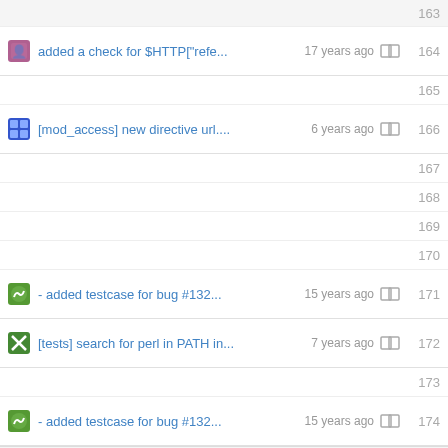163
added a check for $HTTP["refe...  17 years ago  164
165
[mod_access] new directive url....  6 years ago  166
167
168
169
170
- added testcase for bug #132...  15 years ago  171
[tests] search for perl in PATH in...  7 years ago  172
173
- added testcase for bug #132...  15 years ago  174
Powered by Gitea Version: 1.17.1 Page: 67ms Template : 7ms English | Licenses | API | Website